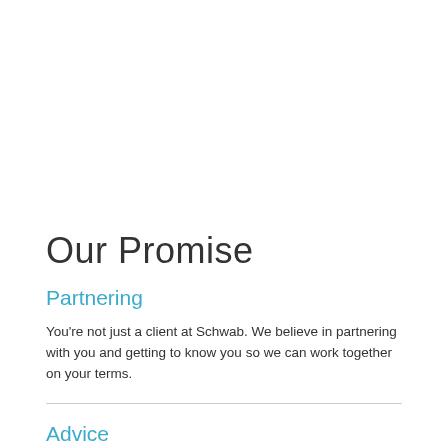Our Promise
Partnering
You're not just a client at Schwab. We believe in partnering with you and getting to know you so we can work together on your terms.
Advice
We provide access to commentary and insights from Schwab...